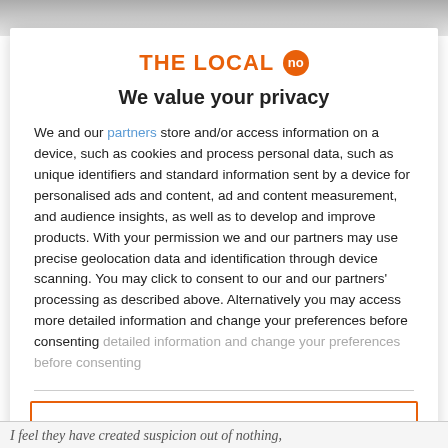[Figure (logo): THE LOCAL no logo with orange text and orange circular badge]
We value your privacy
We and our partners store and/or access information on a device, such as cookies and process personal data, such as unique identifiers and standard information sent by a device for personalised ads and content, ad and content measurement, and audience insights, as well as to develop and improve products. With your permission we and our partners may use precise geolocation data and identification through device scanning. You may click to consent to our and our partners' processing as described above. Alternatively you may access more detailed information and change your preferences before consenting
ACCEPT
MORE OPTIONS
I feel they have created suspicion out of nothing,